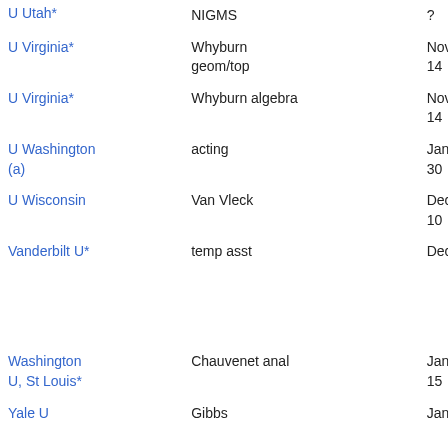| Institution | Name/Type | Apply by | Short lists and offers |
| --- | --- | --- | --- |
| U Utah* | NIGMS | ? |  |
| U Virginia* | Whyburn geom/top | Nov 14 | filled □ |
| U Virginia* | Whyburn algebra | Nov 14 |  |
| U Washington (a) | acting | Jan 30 | offer |
| U Wisconsin | Van Vleck | Dec 10 | filled □ |
| Vanderbilt U* | temp asst | Dec 1 | Juraj F, Jonathan, Whitehead, Dongp, Zhuang |
| Washington U, St Louis* | Chauvenet anal | Jan 15 | filled □ |
| Yale U | Gibbs | Jan 1 | rejection |
Canada
| Institution | Name/Type | Apply by | Short lists and offers |
| --- | --- | --- | --- |